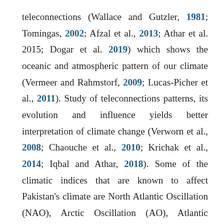teleconnections (Wallace and Gutzler, 1981; Tomingas, 2002; Afzal et al., 2013; Athar et al. 2015; Dogar et al. 2019) which shows the oceanic and atmospheric pattern of our climate (Vermeer and Rahmstorf, 2009; Lucas-Picher et al., 2011). Study of teleconnections patterns, its evolution and influence yields better interpretation of climate change (Verworn et al., 2008; Chaouche et al., 2010; Krichak et al., 2014; Iqbal and Athar, 2018). Some of the climatic indices that are known to affect Pakistan's climate are North Atlantic Oscillation (NAO), Arctic Oscillation (AO), Atlantic Multi-decadal Oscillation (AMO), Indian Ocean Dipole-Dipole mode index/Indian Ocean Dipole-Equatorial Indian Ocean Zonal wind index (IOD-DMI/IOD-EQWIN), Pacific Decadal Oscillation (PDO) and El Niño